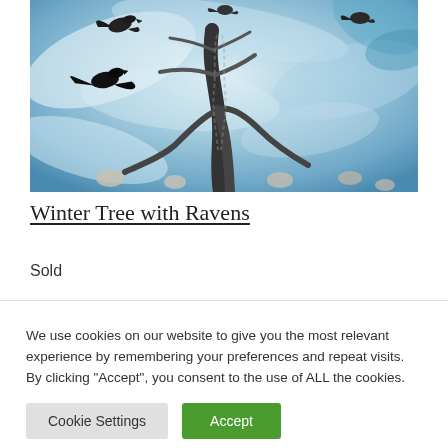[Figure (illustration): A painting of a winter tree with ravens. The tree has bare, gnarled branches against a swirling blue and white background resembling ice or water. A black raven is visible in flight to the left. Several ravens or bird figures appear at the top. Smooth stones are scattered around the base. The style is painterly with fluid, marbled textures in blues and whites.]
Winter Tree with Ravens
Sold
We use cookies on our website to give you the most relevant experience by remembering your preferences and repeat visits. By clicking "Accept", you consent to the use of ALL the cookies.